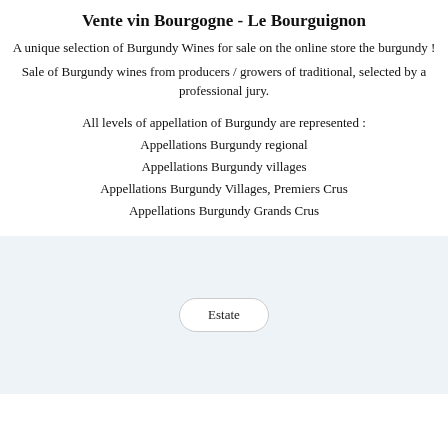Vente vin Bourgogne - Le Bourguignon
A unique selection of Burgundy Wines for sale on the online store the burgundy !
Sale of Burgundy wines from producers / growers of traditional, selected by a professional jury.
All levels of appellation of Burgundy are represented :
Appellations Burgundy regional
Appellations Burgundy villages
Appellations Burgundy Villages, Premiers Crus
Appellations Burgundy Grands Crus
Estate